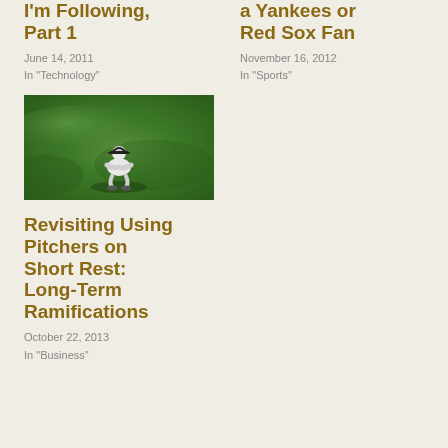I'm Following, Part 1
June 14, 2011
In "Technology"
...You Like to Be a Yankees or Red Sox Fan
November 16, 2012
In "Sports"
[Figure (photo): A baseball player crouching on a green grass field]
Revisiting Using Pitchers on Short Rest: Long-Term Ramifications
October 22, 2013
In "Business"